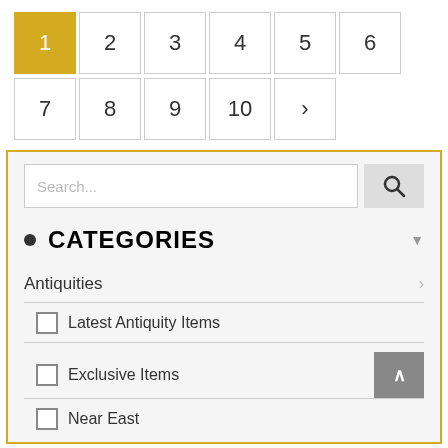Pagination: 1 (active), 2, 3, 4, 5, 6, 7, 8, 9, 10, ›
[Figure (screenshot): Search bar with text input field showing placeholder 'Search...' and a search button with magnifying glass icon]
• CATEGORIES
Antiquities ›
☐ Latest Antiquity Items
☐ Exclusive Items
☐ Near East